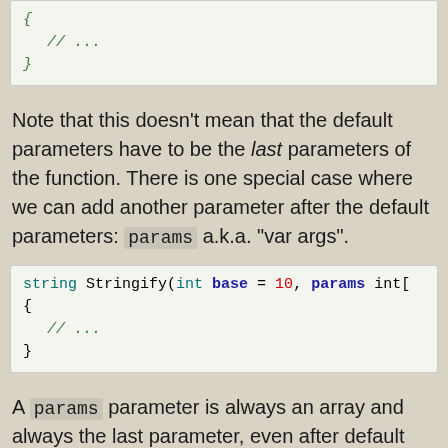[Figure (screenshot): Code block showing { // ... } in green monospace font on light background]
Note that this doesn't mean that the default parameters have to be the last parameters of the function. There is one special case where we can add another parameter after the default parameters: params a.k.a. "var args".
[Figure (screenshot): Code block showing: string Stringify(int base = 10, params int[]) { // ... }]
A params parameter is always an array and always the last parameter, even after default parameters. It can also be passed either explicitly or implicitly. For